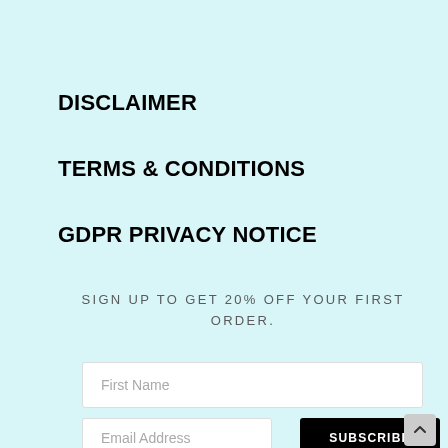DISCLAIMER
TERMS & CONDITIONS
GDPR PRIVACY NOTICE
SIGN UP TO GET 20% OFF YOUR FIRST ORDER.
First Name
Email Address
SUBSCRIBE